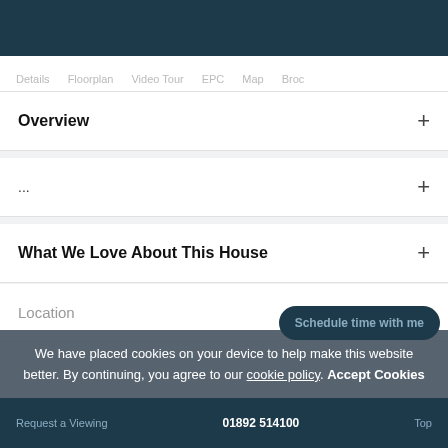Details   Floorplan   Video Tour   EPC   Map   Bro...
Overview
...
What We Love About This House
Location
We have placed cookies on your device to help make this website better. By continuing, you agree to our cookie policy.   Accept Cookies
Request a Viewing   01892 514100   Top